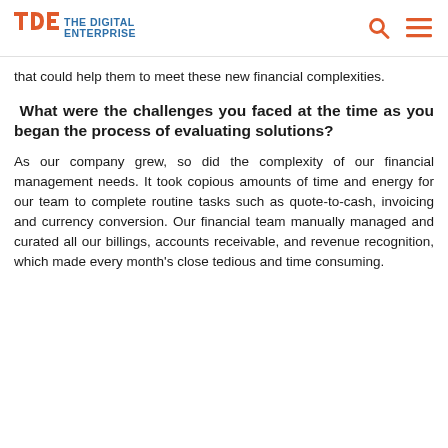THE DIGITAL ENTERPRISE
that could help them to meet these new financial complexities.
What were the challenges you faced at the time as you began the process of evaluating solutions?
As our company grew, so did the complexity of our financial management needs. It took copious amounts of time and energy for our team to complete routine tasks such as quote-to-cash, invoicing and currency conversion. Our financial team manually managed and curated all our billings, accounts receivable, and revenue recognition, which made every month's close tedious and time consuming.